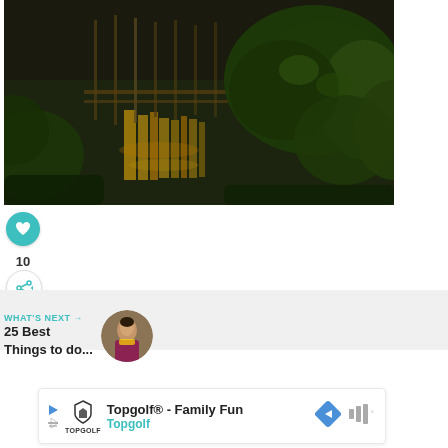[Figure (photo): Aerial/elevated view of a water body (river or pond) with golden light reflections on the water surface, lush green tropical trees on the right side, and what appears to be a wooden bridge or walkway structure in the background. Dark moody tones with warm golden highlights.]
[Figure (infographic): Heart/like icon button (teal circle with white heart), like count '10', and share icon button (white circle with teal share symbol).]
10
WHAT'S NEXT → 25 Best Things to do...
[Figure (photo): Circular thumbnail photo of a person in traditional/cultural attire, used as preview image for next article.]
Topgolf® - Family Fun Topgolf